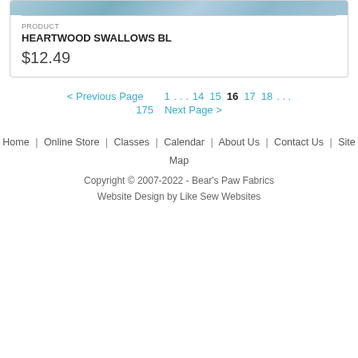[Figure (photo): Partial view of a fabric product image showing a blue/teal bird (swallow) pattern on fabric]
PRODUCT
HEARTWOOD SWALLOWS BL
$12.49
< Previous Page   1 . . . 14  15  16  17  18 . . . 175   Next Page >
Home | Online Store | Classes | Calendar | About Us | Contact Us | Site Map
Copyright © 2007-2022 - Bear's Paw Fabrics
Website Design by Like Sew Websites